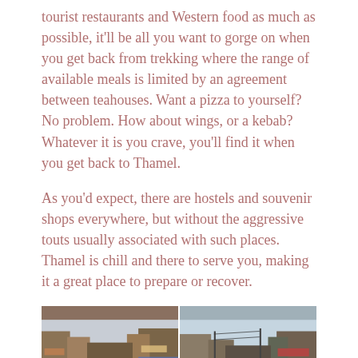tourist restaurants and Western food as much as possible, it'll be all you want to gorge on when you get back from trekking where the range of available meals is limited by an agreement between teahouses. Want a pizza to yourself? No problem. How about wings, or a kebab? Whatever it is you crave, you'll find it when you get back to Thamel.
As you'd expect, there are hostels and souvenir shops everywhere, but without the aggressive touts usually associated with such places. Thamel is chill and there to serve you, making it a great place to prepare or recover.
[Figure (photo): Two side-by-side street photos of Thamel, Kathmandu. Left photo shows a narrow street lined with shops and buildings. Right photo shows another street scene with utility poles and people walking.]